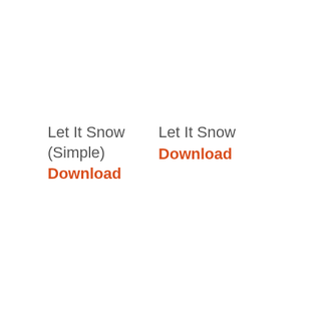Let It Snow (Simple)
Download
Let It Snow
Download